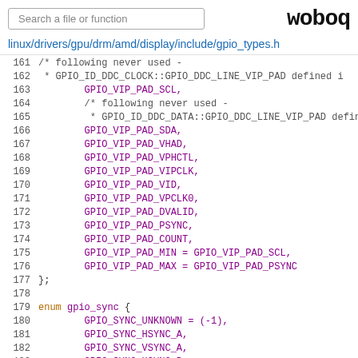Search a file or function | woboq
linux/drivers/gpu/drm/amd/display/include/gpio_types.h
[Figure (screenshot): Source code listing from gpio_types.h, lines 161-186, showing C enum definitions for GPIO_VIP_PAD and gpio_sync enumerations.]